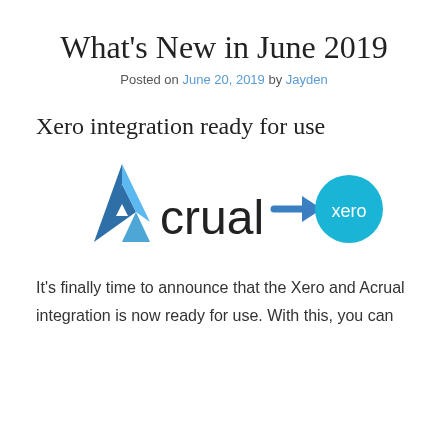What's New in June 2019
Posted on June 20, 2019 by Jayden
Xero integration ready for use
[Figure (logo): Acrual logo with arrow pointing to Xero logo]
It's finally time to announce that the Xero and Acrual integration is now ready for use. With this, you can